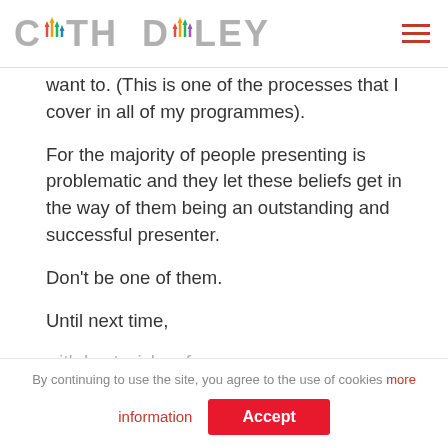[Figure (logo): Cath Daley logo with colorful bar chart arrows in the letters]
want to. (This is one of the processes that I cover in all of my programmes).
For the majority of people presenting is problematic and they let these beliefs get in the way of them being an outstanding and successful presenter.
Don't be one of them.
Until next time,
with best wishes for your success
By continuing to use the site, you agree to the use of cookies more information Accept